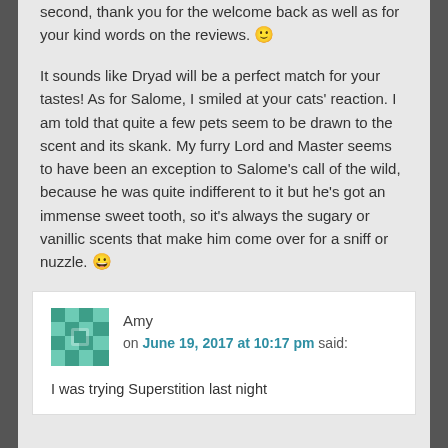second, thank you for the welcome back as well as for your kind words on the reviews. 🙂
It sounds like Dryad will be a perfect match for your tastes! As for Salome, I smiled at your cats' reaction. I am told that quite a few pets seem to be drawn to the scent and its skank. My furry Lord and Master seems to have been an exception to Salome's call of the wild, because he was quite indifferent to it but he's got an immense sweet tooth, so it's always the sugary or vanillic scents that make him come over for a sniff or nuzzle. 😀
Amy on June 19, 2017 at 10:17 pm said:
I was trying Superstition last night